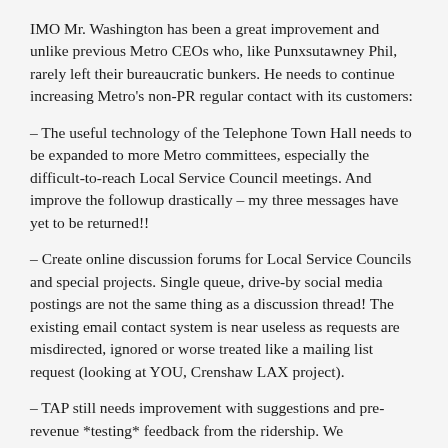IMO Mr. Washington has been a great improvement and unlike previous Metro CEOs who, like Punxsutawney Phil, rarely left their bureaucratic bunkers. He needs to continue increasing Metro's non-PR regular contact with its customers:
– The useful technology of the Telephone Town Hall needs to be expanded to more Metro committees, especially the difficult-to-reach Local Service Council meetings. And improve the followup drastically – my three messages have yet to be returned!!
– Create online discussion forums for Local Service Councils and special projects. Single queue, drive-by social media postings are not the same thing as a discussion thread! The existing email contact system is near useless as requests are misdirected, ignored or worse treated like a mailing list request (looking at YOU, Crenshaw LAX project).
– TAP still needs improvement with suggestions and pre-revenue *testing* feedback from the ridership. We do not have confidence in Metro staff to get it right.